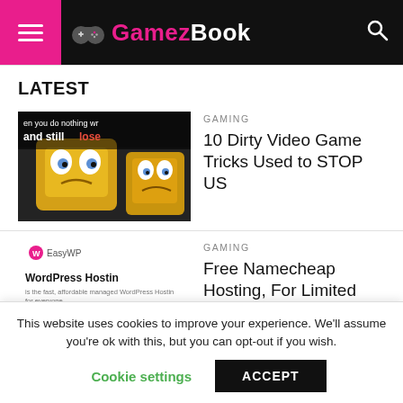GamezBook
LATEST
GAMING
10 Dirty Video Game Tricks Used to STOP US
[Figure (photo): Spongebob meme image with text 'when you do nothing wrong and still lose']
GAMING
Free Namecheap Hosting, For Limited Time
[Figure (screenshot): EasyWP WordPress Hosting advertisement screenshot]
GAMING
This website uses cookies to improve your experience. We'll assume you're ok with this, but you can opt-out if you wish.
Cookie settings  ACCEPT